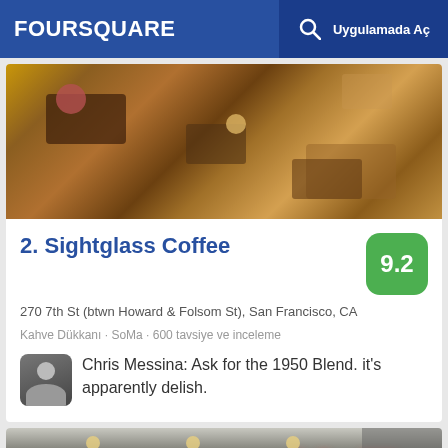FOURSQUARE — Uygulamada Aç
[Figure (photo): Aerial/overhead view of a coffee shop interior showing espresso equipment and food items on display counters]
2. Sightglass Coffee
270 7th St (btwn Howard & Folsom St), San Francisco, CA
Kahve Dükkanı · SoMa · 600 tavsiye ve inceleme
Chris Messina: Ask for the 1950 Blend. it's apparently delish.
[Figure (photo): Exterior/interior shot of a restaurant or venue with large red neon letters visible on signage]